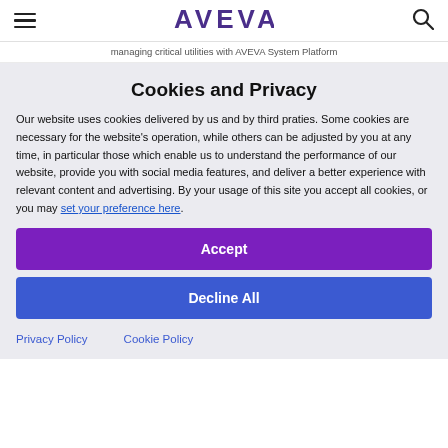AVEVA
managing critical utilities with AVEVA System Platform
Cookies and Privacy
Our website uses cookies delivered by us and by third praties. Some cookies are necessary for the website's operation, while others can be adjusted by you at any time, in particular those which enable us to understand the performance of our website, provide you with social media features, and deliver a better experience with relevant content and advertising. By your usage of this site you accept all cookies, or you may set your preference here.
Accept
Decline All
Privacy Policy
Cookie Policy